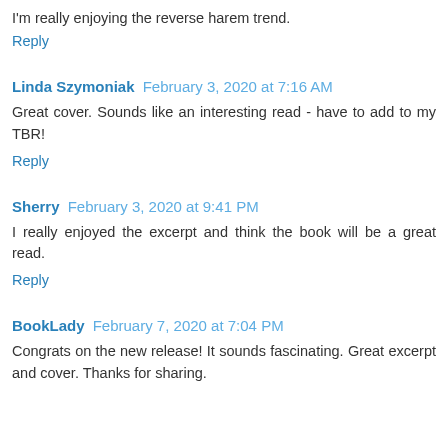I'm really enjoying the reverse harem trend.
Reply
Linda Szymoniak February 3, 2020 at 7:16 AM
Great cover. Sounds like an interesting read - have to add to my TBR!
Reply
Sherry February 3, 2020 at 9:41 PM
I really enjoyed the excerpt and think the book will be a great read.
Reply
BookLady February 7, 2020 at 7:04 PM
Congrats on the new release! It sounds fascinating. Great excerpt and cover. Thanks for sharing.